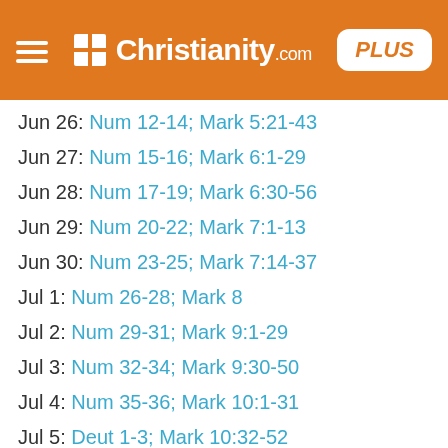[Figure (logo): Christianity.com website header with hamburger menu, logo, and PLUS button on orange background]
Jun 26: Num 12-14; Mark 5:21-43
Jun 27: Num 15-16; Mark 6:1-29
Jun 28: Num 17-19; Mark 6:30-56
Jun 29: Num 20-22; Mark 7:1-13
Jun 30: Num 23-25; Mark 7:14-37
Jul 1: Num 26-28; Mark 8
Jul 2: Num 29-31; Mark 9:1-29
Jul 3: Num 32-34; Mark 9:30-50
Jul 4: Num 35-36; Mark 10:1-31
Jul 5: Deut 1-3; Mark 10:32-52
Jul 6: Deut 4-6; Mark 11:1-18
Jul 7: Deut 7-9; Mark 11:19-33
Jul 8: Deut 10-12; Mark 12:1-27